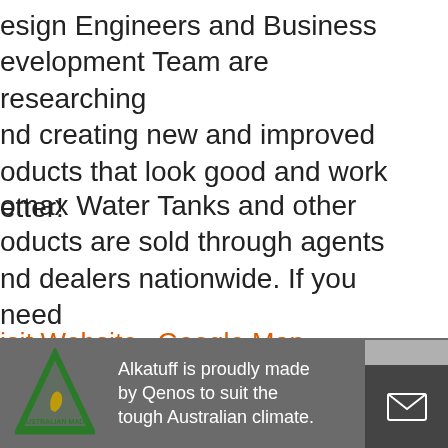esign Engineers and Business evelopment Team are researching nd creating new and improved oducts that look good and work etter!
omax Water Tanks and other oducts are sold through agents nd dealers nationwide. If you need y help with finding your nearest ealer or deciding which product is ght for you, give Promax a call.
Visit Website   Google Map
Alkatuff is proudly made by Qenos to suit the tough Australian climate.